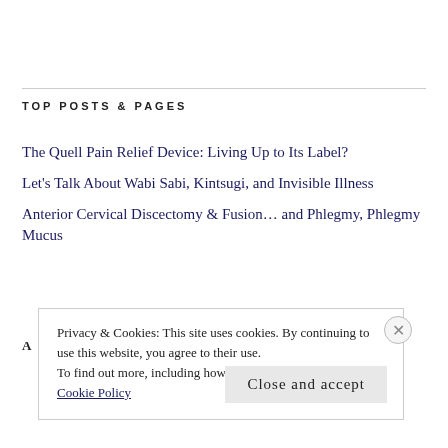TOP POSTS & PAGES
The Quell Pain Relief Device: Living Up to Its Label?
Let's Talk About Wabi Sabi, Kintsugi, and Invisible Illness
Anterior Cervical Discectomy & Fusion… and Phlegmy, Phlegmy Mucus
Privacy & Cookies: This site uses cookies. By continuing to use this website, you agree to their use.
To find out more, including how to control cookies, see here:
Cookie Policy
Close and accept